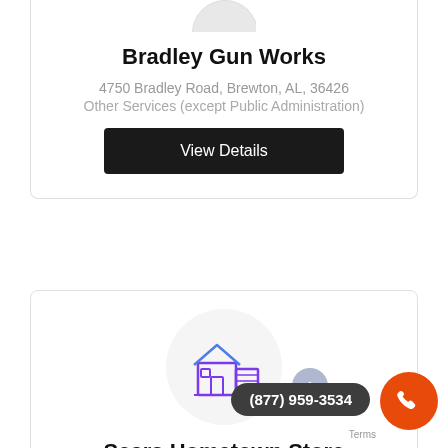[Figure (illustration): Partial circular avatar placeholder at top of card for Bradley Gun Works]
Bradley Gun Works
4750 Bradley Road, Brewton, AL, 36426
Other Services (except Public Administration)
View Details
[Figure (illustration): Circular icon showing a house/store building illustration in purple/blue outline style, representing Sears Hometown Store]
Sears Hometown Store
(877) 959-3534